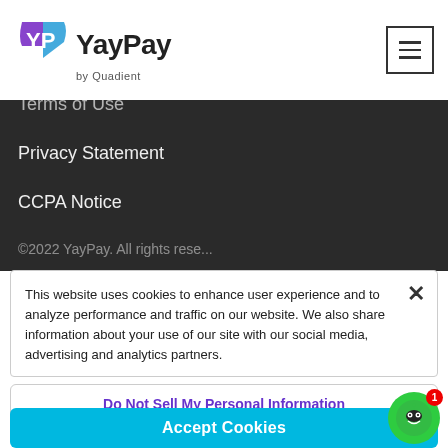[Figure (logo): YayPay by Quadient logo with purple VP icon and bold YayPay text]
Terms of Use
Privacy Statement
CCPA Notice
©2022 YayPay. All rights reserved.
This website uses cookies to enhance user experience and to analyze performance and traffic on our website. We also share information about your use of our site with our social media, advertising and analytics partners.
Do Not Sell My Personal Information
Accept Cookies